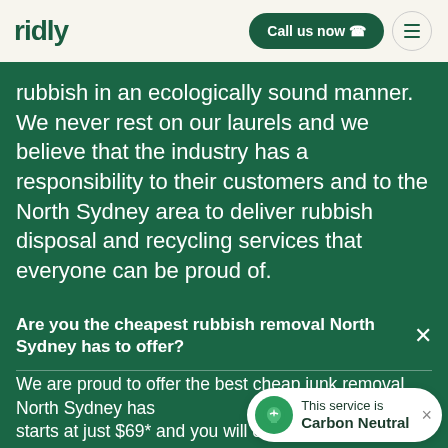ridly
rubbish in an ecologically sound manner. We never rest on our laurels and we believe that the industry has a responsibility to their customers and to the North Sydney area to deliver rubbish disposal and recycling services that everyone can be proud of.
Are you the cheapest rubbish removal North Sydney has to offer?
We are proud to offer the best cheap junk removal North Sydney has to offer. Our service starts at just $69* and you will only pay for the space that your items take up, which means pricing is...